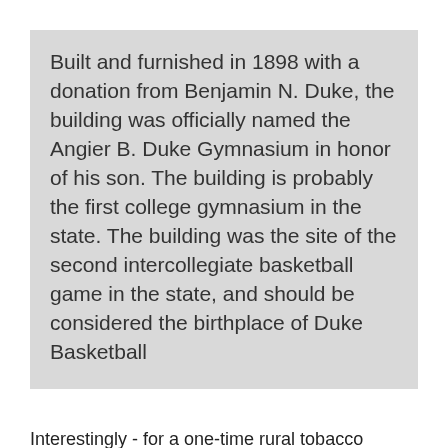Built and furnished in 1898 with a donation from Benjamin N. Duke, the building was officially named the Angier B. Duke Gymnasium in honor of his son. The building is probably the first college gymnasium in the state. The building was the site of the second intercollegiate basketball game in the state, and should be considered the birthplace of Duke Basketball
Interestingly - for a one-time rural tobacco farmer in the late 19th century - Washington Duke was a strong believer that Trinity should provide women equal educational opportunities to men. In a December 5, 1896 letter to the Eastern Methodist Conference, Washington Duke offered the College $100,000 to become a co-educational institution, stipulating that Trinity "will open its doors to women placing them on an equal footing with men.". Trinity had matriculated and graduated women prior to its move to Durham, as early as 1878 - and women attended the school during its early